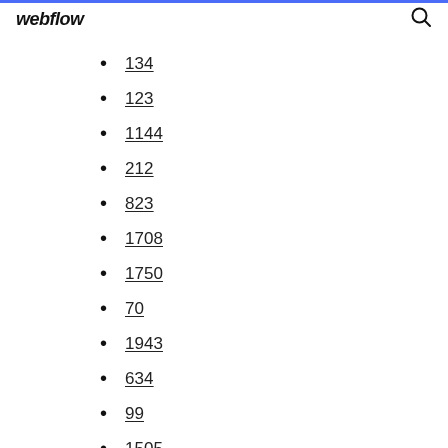webflow
134
123
1144
212
823
1708
1750
70
1943
634
99
1505